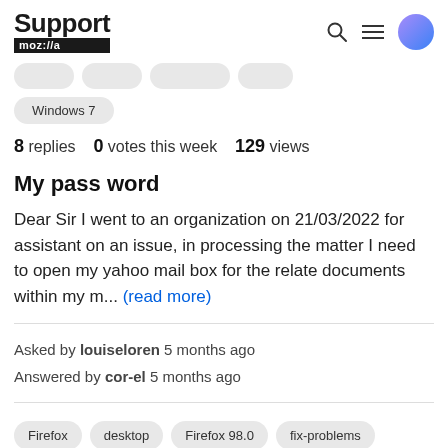Support mozilla//a
Windows 7
8 replies  0 votes this week  129 views
My pass word
Dear Sir I went to an organization on 21/03/2022 for assistant on an issue, in processing the matter I need to open my yahoo mail box for the relate documents within my m... (read more)
Asked by louiseloren 5 months ago
Answered by cor-el 5 months ago
Firefox  desktop  Firefox 98.0  fix-problems